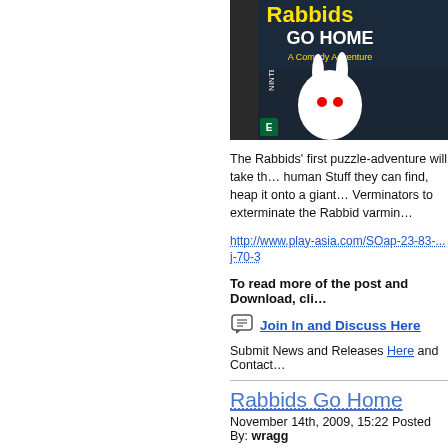[Figure (photo): Nintendo DS game box for Rabbids Go Home: A Comedy Adventure, showing a white rabbit character]
The Rabbids' first puzzle-adventure will take th... human Stuff they can find, heap it onto a giant... Verminators to exterminate the Rabbid varmin...
http://www.play-asia.com/SOap-23-83-...j-70-3
To read more of the post and Download, cli...
Join In and Discuss Here
Submit News and Releases Here and Contact
Rabbids Go Home
November 14th, 2009, 15:22 Posted By: wragg
Newly released today:
[Figure (photo): Wii game box for Rabbids Go Home, partially visible at bottom of page]